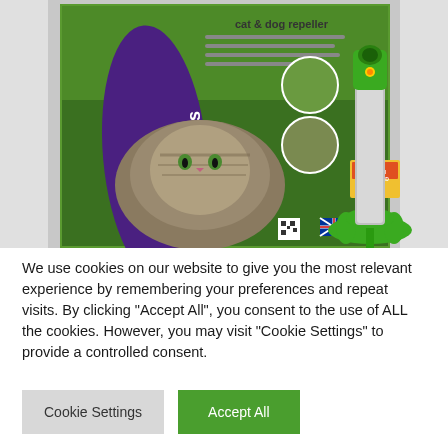[Figure (photo): Product photo of Defenders cat and dog repeller. Shows green product packaging with a cat image, Defenders branding in purple oval, 'cat & dog repeller' text, and the actual green and silver ultrasonic stake device next to the box.]
We use cookies on our website to give you the most relevant experience by remembering your preferences and repeat visits. By clicking "Accept All", you consent to the use of ALL the cookies. However, you may visit "Cookie Settings" to provide a controlled consent.
Cookie Settings
Accept All